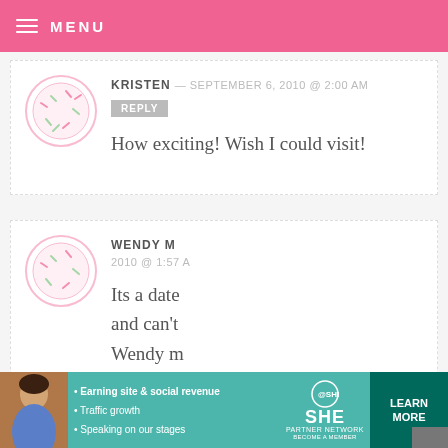MENU
KRISTEN — SEPTEMBER 6, 2010 @ 2:00 AM
REPLY
How exciting! Wish I could visit!
WENDY M — 2010 @ 1:57 A
Its a date ... and can't ... Wendy m
[Figure (screenshot): Video player overlay showing paused video with play button, progress bar at 13:52, and controls including mute, CC, chapters, settings, and fullscreen]
[Figure (infographic): SHE Partner Network advertisement banner with photo of woman, bullet points: Earning site & social revenue, Traffic growth, Speaking on our stages, SHE logo, BECOME A MEMBER, and LEARN MORE button]